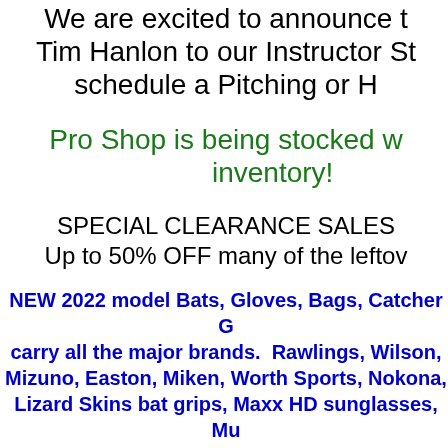We are excited to announce the addition of Tim Hanlon to our Instructor St... schedule a Pitching or H...
Pro Shop is being stocked w... inventory!
SPECIAL CLEARANCE SALES Up to 50% OFF many of the leftov...
NEW 2022 model Bats, Gloves, Bags, Catcher G... carry all the major brands. Rawlings, Wilson, Mizuno, Easton, Miken, Worth Sports, Nokona, ... Lizard Skins bat grips, Maxx HD sunglasses, Mu... has Bats, Gloves, Batting Gloves, Helmets, Cleats... and Backpacks, Baseball and Softballs, A...